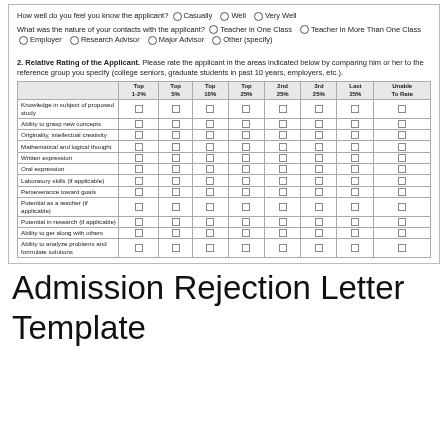How well do you feel you know the applicant? O Casually O Well O Very Well
What was the nature of your contacts with the applicant? O Teacher in One Class O Teacher in More Than One Class O Employer O Research Advisor O Major Advisor O Other (specify)
2. Relative Rating of the Applicant. Please rate the applicant in the areas indicated below by comparing him or her to the reference group you specify (college seniors, graduate students in past 10 years, employers, etc.).
|  | Top 1-2% | Top 5% | Top 10% | Top 25% | 2nd 25% | 3rd 25% | Last 25% | Unable To Rate |
| --- | --- | --- | --- | --- | --- | --- | --- | --- |
| Knowledge in subject of proposed study | ☐ | ☐ | ☐ | ☐ | ☐ | ☐ | ☐ | ☐ |
| Ability to grasp new concepts | ☐ | ☐ | ☐ | ☐ | ☐ | ☐ | ☐ | ☐ |
| Originality, intellectual creativity | ☐ | ☐ | ☐ | ☐ | ☐ | ☐ | ☐ | ☐ |
| Mathematical and logical thought | ☐ | ☐ | ☐ | ☐ | ☐ | ☐ | ☐ | ☐ |
| Written expression | ☐ | ☐ | ☐ | ☐ | ☐ | ☐ | ☐ | ☐ |
| Oral expression | ☐ | ☐ | ☐ | ☐ | ☐ | ☐ | ☐ | ☐ |
| Laboratory skills (if applicable) | ☐ | ☐ | ☐ | ☐ | ☐ | ☐ | ☐ | ☐ |
| Perseverance toward goals | ☐ | ☐ | ☐ | ☐ | ☐ | ☐ | ☐ | ☐ |
| Potential as a teacher (if applicable) | ☐ | ☐ | ☐ | ☐ | ☐ | ☐ | ☐ | ☐ |
| Potential in research (if applicable) | ☐ | ☐ | ☐ | ☐ | ☐ | ☐ | ☐ | ☐ |
| Ability to get along with others | ☐ | ☐ | ☐ | ☐ | ☐ | ☐ | ☐ | ☐ |
| Ability to analyze problems and formulate solutions | ☐ | ☐ | ☐ | ☐ | ☐ | ☐ | ☐ | ☐ |
Admission Rejection Letter Template